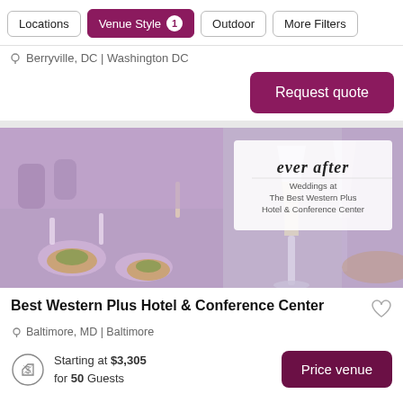Locations | Venue Style 1 | Outdoor | More Filters
Berryville, DC | Washington DC
Request quote
[Figure (photo): Wedding reception venue photo showing elegantly set tables with champagne glasses, salads, and decorative centerpieces, with overlay text: 'ever after – Weddings at The Best Western Plus Hotel & Conference Center']
Best Western Plus Hotel & Conference Center
Baltimore, MD | Baltimore
Starting at $3,305 for 50 Guests
Price venue